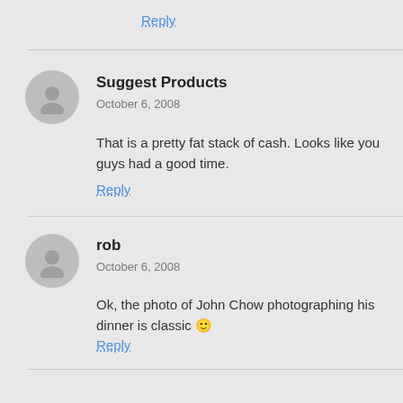Reply
Suggest Products
October 6, 2008
That is a pretty fat stack of cash. Looks like you guys had a good time.
Reply
rob
October 6, 2008
Ok, the photo of John Chow photographing his dinner is classic 🙂
Reply